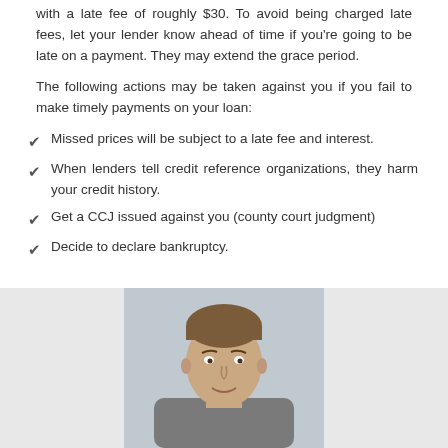with a late fee of roughly $30. To avoid being charged late fees, let your lender know ahead of time if you're going to be late on a payment. They may extend the grace period.
The following actions may be taken against you if you fail to make timely payments on your loan:
Missed prices will be subject to a late fee and interest.
When lenders tell credit reference organizations, they harm your credit history.
Get a CCJ issued against you (county court judgment)
Decide to declare bankruptcy.
[Figure (photo): Photo of a young man with short hair, appearing in the lower portion of the page against a light grey background.]